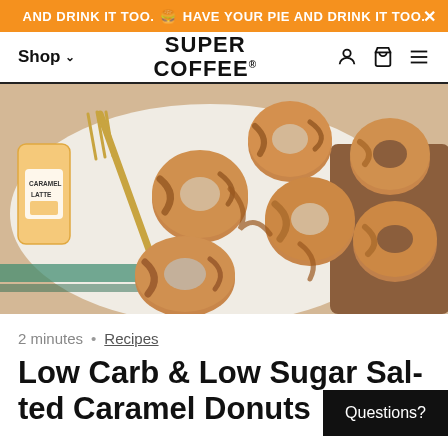HAVE YOUR PIE AND DRINK IT TOO.
Shop • SUPER COFFEE®
[Figure (photo): Overhead photo of caramel-glazed donuts on a white cloth with a gold fork and a Super Coffee Caramel Latte bottle visible on the left.]
2 minutes • Recipes
Low Carb & Low Sugar Salted Caramel Donuts